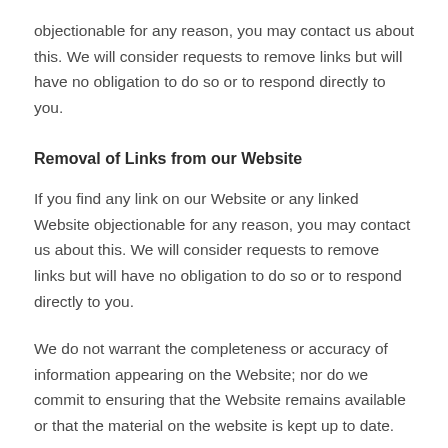objectionable for any reason, you may contact us about this. We will consider requests to remove links but will have no obligation to do so or to respond directly to you.
Removal of Links from our Website
If you find any link on our Website or any linked Website objectionable for any reason, you may contact us about this. We will consider requests to remove links but will have no obligation to do so or to respond directly to you.
We do not warrant the completeness or accuracy of information appearing on the Website; nor do we commit to ensuring that the Website remains available or that the material on the website is kept up to date.
Content Liability